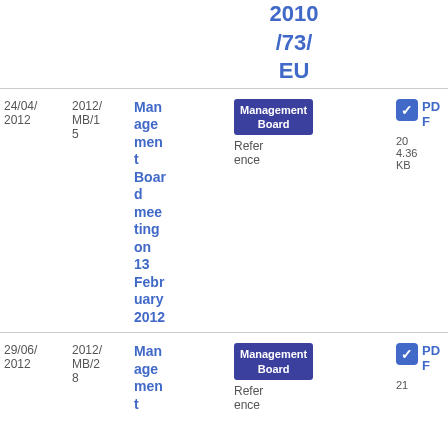2010/73/EU
| Date | Reference | Title | Tag | Type | File |
| --- | --- | --- | --- | --- | --- |
| 24/04/2012 | 2012/MB/15 | Management Board meeting on 13 February 2012 | Management Board | Reference | PDF 4.36 KB 20 |
| 29/06/2012 | 2012/MB/28 | Management Board... | Management Board | Reference | PDF 21 |